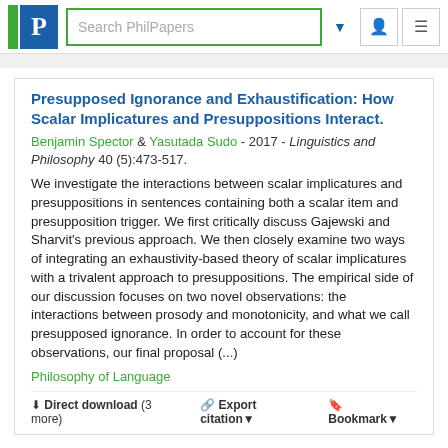[Figure (logo): PhilPapers logo with green bar, blue P box, and search bar with navigation icons]
Presupposed Ignorance and Exhaustification: How Scalar Implicatures and Presuppositions Interact.
Benjamin Spector & Yasutada Sudo - 2017 - Linguistics and Philosophy 40 (5):473-517.
We investigate the interactions between scalar implicatures and presuppositions in sentences containing both a scalar item and presupposition trigger. We first critically discuss Gajewski and Sharvit's previous approach. We then closely examine two ways of integrating an exhaustivity-based theory of scalar implicatures with a trivalent approach to presuppositions. The empirical side of our discussion focuses on two novel observations: the interactions between prosody and monotonicity, and what we call presupposed ignorance. In order to account for these observations, our final proposal (...)
Philosophy of Language
⬇ Direct download (3 more)   🔗 Export citation▾   🔖 Bookmark▾